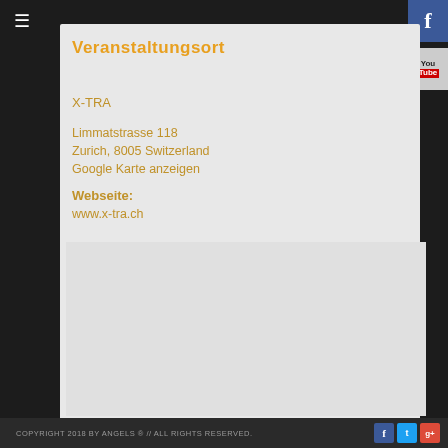Veranstaltungsort
X-TRA
Limmatstrasse 118
Zurich, 8005 Switzerland
Google Karte anzeigen
Webseite:
www.x-tra.ch
[Figure (map): Embedded Google Maps view of the venue location, shown as a blank/loading map placeholder]
COPYRIGHT 2018 BY ANGELS ® // ALL RIGHTS RESERVED.